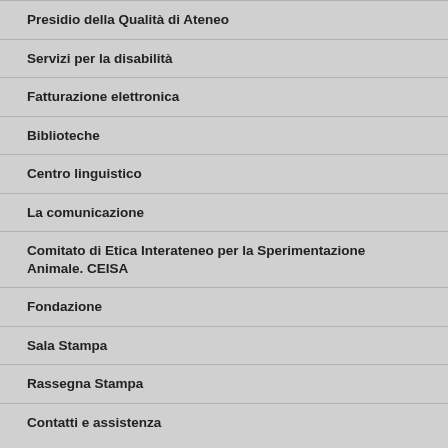Presidio della Qualità di Ateneo
Servizi per la disabilità
Fatturazione elettronica
Biblioteche
Centro linguistico
La comunicazione
Comitato di Etica Interateneo per la Sperimentazione Animale. CEISA
Fondazione
Sala Stampa
Rassegna Stampa
Contatti e assistenza